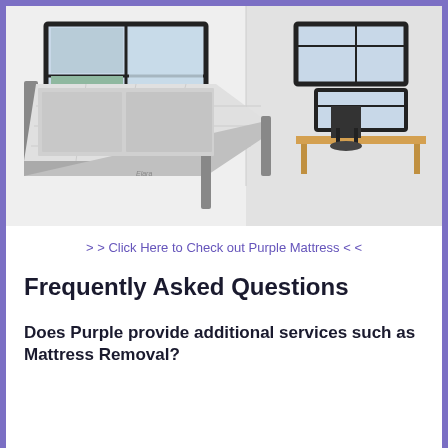[Figure (photo): A bedroom with a metal-frame bed with a white quilted mattress, two large windows with black frames, a desk with a chair, and beige carpet flooring. The room has white walls.]
> > Click Here to Check out Purple Mattress < <
Frequently Asked Questions
Does Purple provide additional services such as Mattress Removal?